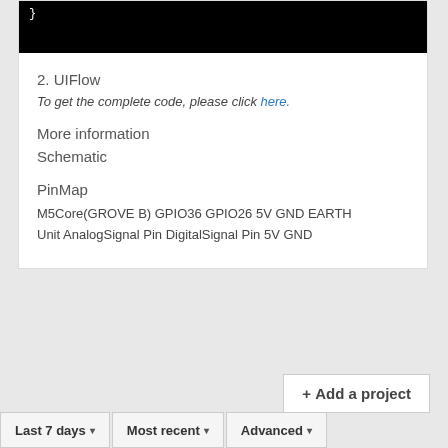[Figure (screenshot): Black code block showing closing brace in white monospace text]
2. UIFlow
To get the complete code, please click here.
More information
Schematic
PinMap
M5Core(GROVE B) GPIO36 GPIO26 5V GND EARTH Unit AnalogSignal Pin DigitalSignal Pin 5V GND
+ Add a project
Last 7 days ▾  Most recent ▾  Advanced ▾